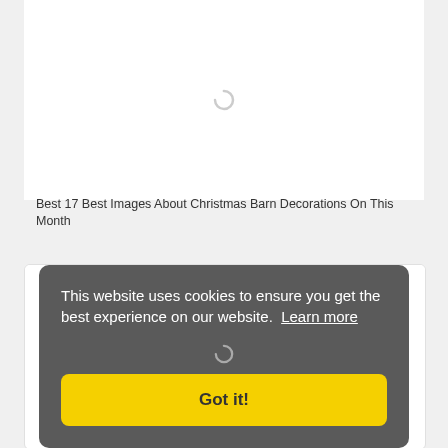[Figure (screenshot): Card with loading spinner image placeholder at top]
Best 17 Best Images About Christmas Barn Decorations On This Month
[Figure (screenshot): Second card with loading spinner image placeholder]
This website uses cookies to ensure you get the best experience on our website. Learn more
Got it!